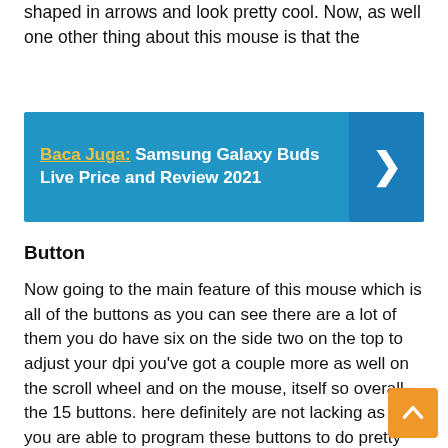shaped in arrows and look pretty cool. Now, as well one other thing about this mouse is that the
[Figure (infographic): Blue promotional banner with yellow 'Baca Juga:' label followed by 'Samsung Galaxy Buds Live Price and Review 2021' text in white bold, with a right-arrow chevron on a darker blue right panel.]
Button
Now going to the main feature of this mouse which is all of the buttons as you can see there are a lot of them you do have six on the side two on the top to adjust your dpi you've got a couple more as well on the scroll wheel and on the mouse, itself so overall the 15 buttons. here definitely are not lacking as well you are able to program these buttons to do pretty much whatever you want using the g hub software now one thing about the design as well that you can see is that there's, unfortunately, no RGBS personally.